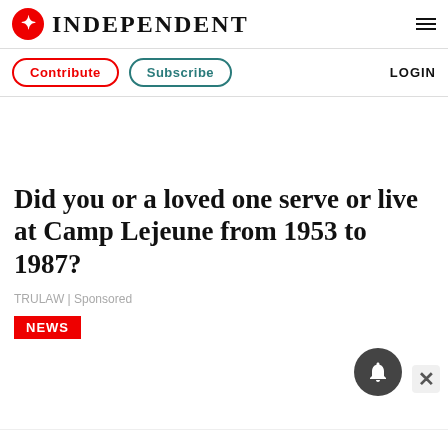INDEPENDENT
Contribute | Subscribe | LOGIN
Did you or a loved one serve or live at Camp Lejeune from 1953 to 1987?
TRULAW | Sponsored
NEWS